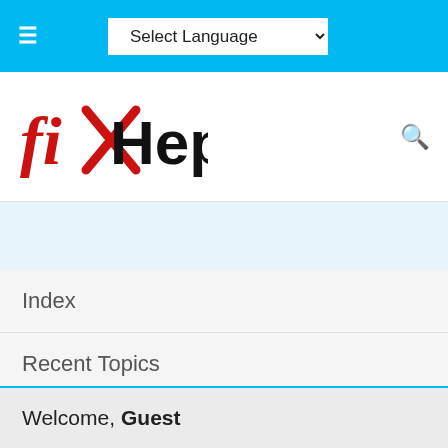Select Language
[Figure (logo): fixHepC logo with red X mark and black text 'HepC']
Index
Recent Topics
Search
Glossary
GP Cheat Sheet
Welcome, Guest